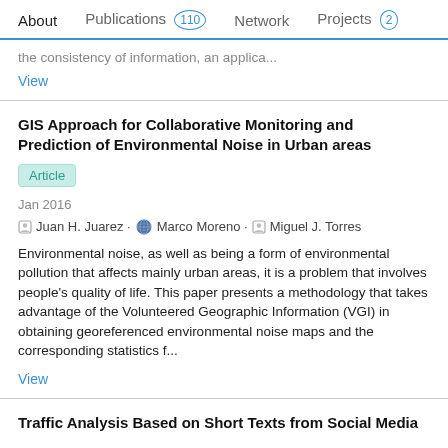About  Publications 110  Network  Projects 2
the consistency of information, an applica...
View
GIS Approach for Collaborative Monitoring and Prediction of Environmental Noise in Urban areas
Article
Jan 2016
Juan H. Juarez · Marco Moreno · Miguel J. Torres
Environmental noise, as well as being a form of environmental pollution that affects mainly urban areas, it is a problem that involves people's quality of life. This paper presents a methodology that takes advantage of the Volunteered Geographic Information (VGI) in obtaining georeferenced environmental noise maps and the corresponding statistics f...
View
Traffic Analysis Based on Short Texts from Social Media